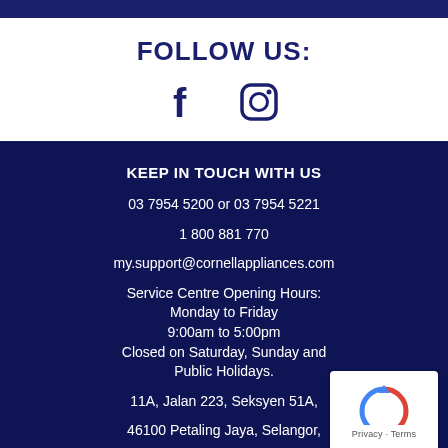FOLLOW US:
[Figure (illustration): Facebook and Instagram social media icons in dark navy blue]
KEEP IN TOUCH WITH US
03 7954 5200 or 03 7954 5221
1 800 881 770
my.support@cornellappliances.com
Service Centre Opening Hours:
Monday to Friday
9:00am to 5:00pm
Closed on Saturday, Sunday and Public Holidays.
11A, Jalan 223, Seksyen 51A,
46100 Petaling Jaya, Selangor,